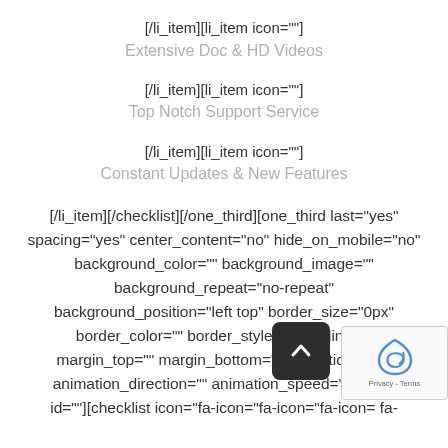[/li_item][li_item icon=""]
Extensive Doc & HD Videos
[/li_item][li_item icon=""]
Top Notch Support Service
[/li_item][li_item icon=""]
Constant Updates & New Features
[/li_item][/checklist][/one_third][one_third last="yes" spacing="yes" center_content="no" hide_on_mobile="no" background_color="" background_image="" background_repeat="no-repeat" background_position="left top" border_size="0px" border_color="" border_style="" padding="" margin_top="" margin_bottom="" animation_type="" animation_direction="" animation_speed="0.1" class="" id=""][checklist icon="fa-icon="fa-icon="fa-icon="fa-